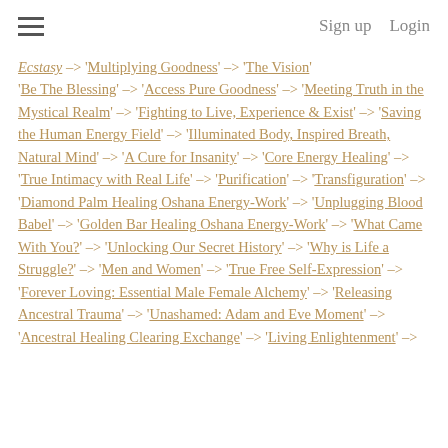Sign up  Login
'Be The Blessing' --> 'Access Pure Goodness' --> 'Meeting Truth in the Mystical Realm' --> 'Fighting to Live, Experience & Exist' --> 'Saving the Human Energy Field' --> 'Illuminated Body, Inspired Breath, Natural Mind' --> 'A Cure for Insanity' --> 'Core Energy Healing' --> 'True Intimacy with Real Life' --> 'Purification' --> 'Transfiguration' --> 'Diamond Palm Healing Oshana Energy-Work' --> 'Unplugging Blood Babel' --> 'Golden Bar Healing Oshana Energy-Work' --> 'What Came With You?' --> 'Unlocking Our Secret History' --> 'Why is Life a Struggle?' --> 'Men and Women' --> 'True Free Self-Expression' --> 'Forever Loving: Essential Male Female Alchemy' --> 'Releasing Ancestral Trauma' --> 'Unashamed: Adam and Eve Moment' --> 'Ancestral Healing Clearing Exchange' --> 'Living Enlightenment' -->